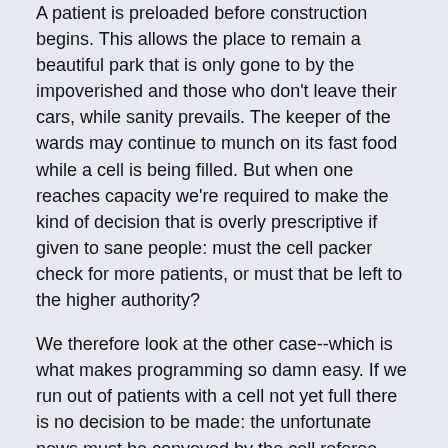A patient is preloaded before construction begins. This allows the place to remain a beautiful park that is only gone to by the impoverished and those who don't leave their cars, while sanity prevails. The keeper of the wards may continue to munch on its fast food while a cell is being filled. But when one reaches capacity we're required to make the kind of decision that is overly prescriptive if given to sane people: must the cell packer check for more patients, or must that be left to the higher authority?
We therefore look at the other case--which is what makes programming so damn easy. If we run out of patients with a cell not yet full there is no decision to be made: the unfortunate news must be conveyed by the cell referee that sanity has been restored.
| shipyard.xgml | gpl-3.0.txt | style.cssml | templates_config.xml | tex… |
| simplicity.xgml | w3css4.css | asylum.xgml | update-notes.ml | cre… |
| 8 | nav.ml | ktwkc.cssml | cgi-bin | eg… |
| egg-sgml.xgml | you.xgml | theme.cssml | header_footer.ml | Aa |